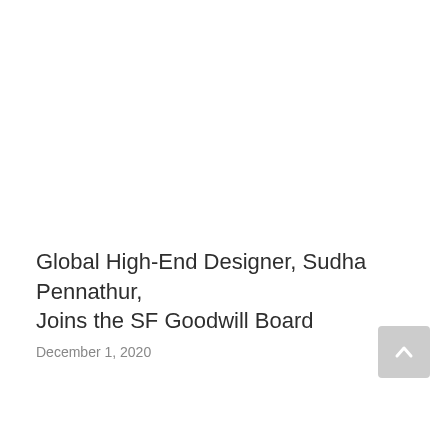Global High-End Designer, Sudha Pennathur, Joins the SF Goodwill Board
December 1, 2020